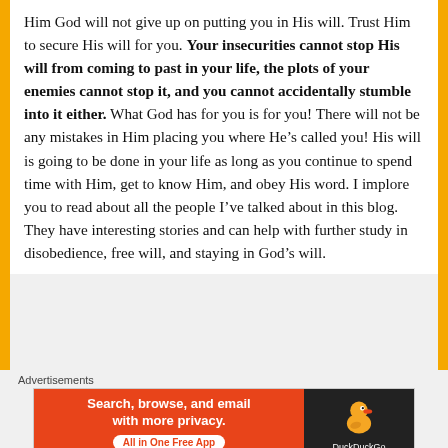Him God will not give up on putting you in His will. Trust Him to secure His will for you. Your insecurities cannot stop His will from coming to past in your life, the plots of your enemies cannot stop it, and you cannot accidentally stumble into it either. What God has for you is for you! There will not be any mistakes in Him placing you where He’s called you! His will is going to be done in your life as long as you continue to spend time with Him, get to know Him, and obey His word. I implore you to read about all the people I’ve talked about in this blog. They have interesting stories and can help with further study in disobedience, free will, and staying in God’s will.
Advertisements
[Figure (infographic): DuckDuckGo advertisement banner: orange background on left with text 'Search, browse, and email with more privacy. All in One Free App', dark background on right with DuckDuckGo duck logo and 'DuckDuckGo' label.]